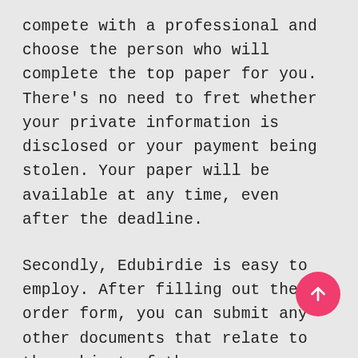compete with a professional and choose the person who will complete the top paper for you. There's no need to fret whether your private information is disclosed or your payment being stolen. Your paper will be available at any time, even after the deadline.
Secondly, Edubirdie is easy to employ. After filling out the order form, you can submit any other documents that relate to the subject of the essay. Additionally, you can select from three distinct writer characteristics. All three writers are an native English speaker. Based on their expertise and their previous work experience writing essays and other writing assignments, you are